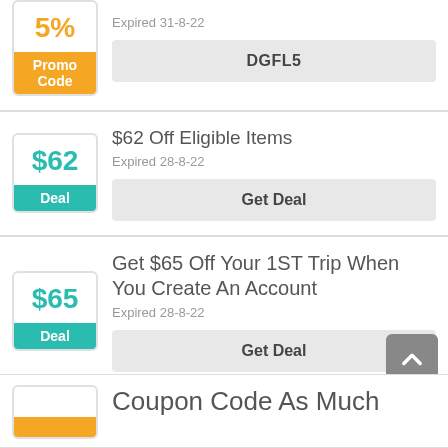Save 5% Off At Airbnb
Expired 31-8-22
DGFL5
$62 Off Eligible Items
Expired 28-8-22
Get Deal
Get $65 Off Your 1ST Trip When You Create An Account
Expired 28-8-22
Get Deal
Coupon Code As Much As 20% Off Y...